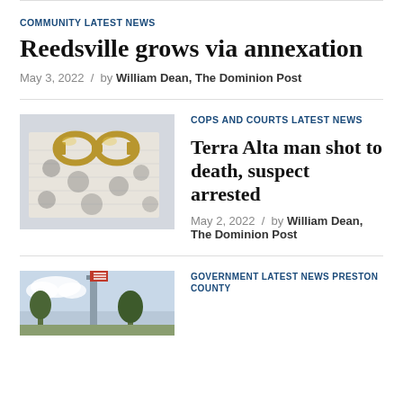COMMUNITY LATEST NEWS
Reedsville grows via annexation
May 3, 2022 / by William Dean, The Dominion Post
COPS AND COURTS LATEST NEWS
Terra Alta man shot to death, suspect arrested
May 2, 2022 / by William Dean, The Dominion Post
GOVERNMENT LATEST NEWS PRESTON COUNTY